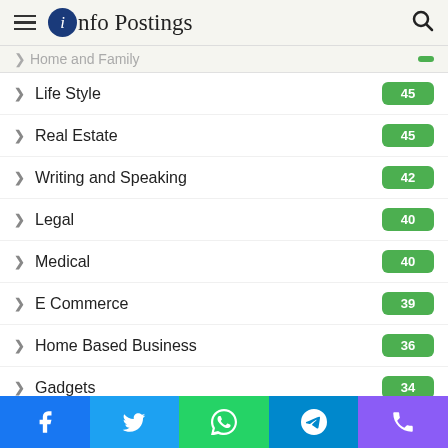Info Postings
Home and Family
Life Style - 45
Real Estate - 45
Writing and Speaking - 42
Legal - 40
Medical - 40
E Commerce - 39
Home Based Business - 36
Gadgets - 34
Women's Interests - 23
Kids and Teens